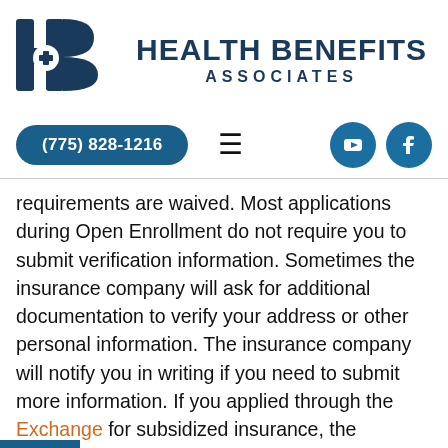[Figure (logo): Health Benefits Associates logo with H+B icon and company name]
[Figure (infographic): Navigation bar with phone number (775) 828-1216, hamburger menu, YouTube and Facebook social icons]
requirements are waived. Most applications during Open Enrollment do not require you to submit verification information. Sometimes the insurance company will ask for additional documentation to verify your address or other personal information. The insurance company will notify you in writing if you need to submit more information. If you applied through the Exchange for subsidized insurance, the Exchange will notify you if you need to submit more information. You can check to see if there are any outstanding requirements by calling the